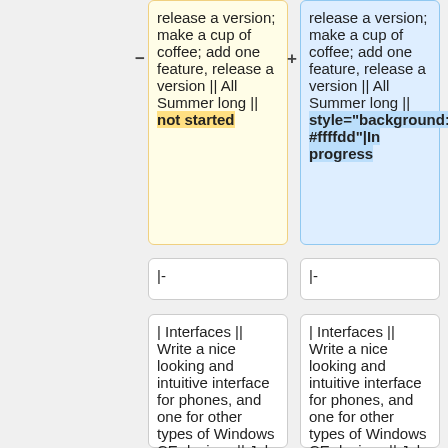release a version; make a cup of coffee; add one feature, release a version || All Summer long || not started
release a version; make a cup of coffee; add one feature, release a version || All Summer long || style="background: #ffffdd"|In progress
|-
|-
| Interfaces || Write a nice looking and intuitive interface for phones, and one for other types of Windows CE devices || July || not started
| Interfaces || Write a nice looking and intuitive interface for phones, and one for other types of Windows CE devices || July || not started